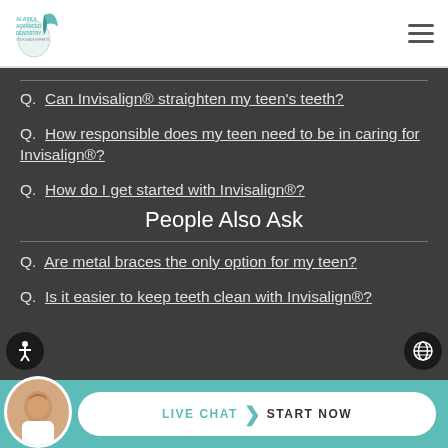Alaska Advanced Dentistry logo and navigation
Q. Can Invisalign® straighten my teen's teeth?
Q. How responsible does my teen need to be in caring for Invisalign®?
Q. How do I get started with Invisalign®?
People Also Ask
Q. Are metal braces the only option for my teen?
Q. Is it easier to keep teeth clean with Invisalign®?
LIVE CHAT   START NOW